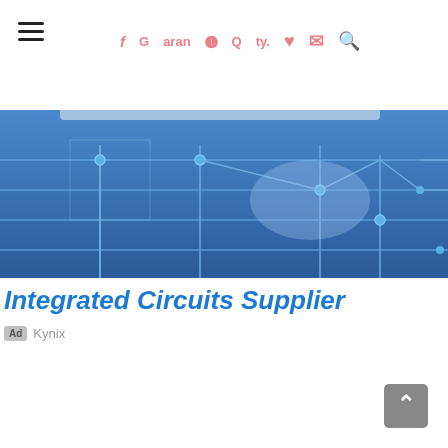f G Instagram Twitter ♥ ✉ 🔍
[Figure (photo): Hero banner showing a circuit board chip with blue electronic PCB trace background]
Integrated Circuits Supplier
Ad Kynix